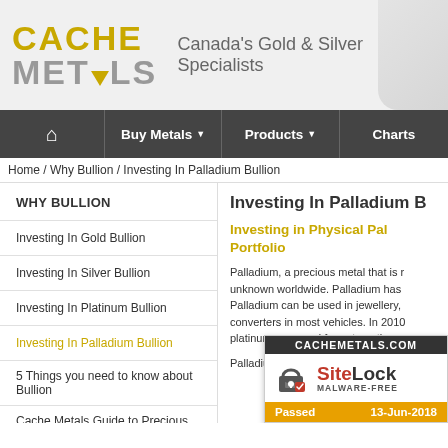[Figure (logo): Cache Metals logo with gold CACHE text and grey METALS text with gold triangle, beside tagline 'Canada's Gold & Silver Specialists' with globe graphic]
Home / Buy Metals / Products / Charts navigation bar
Home / Why Bullion / Investing In Palladium Bullion
WHY BULLION
Investing In Gold Bullion
Investing In Silver Bullion
Investing In Platinum Bullion
Investing In Palladium Bullion
5 Things you need to know about Bullion
Cache Metals Guide to Precious Metals Ownership
Investing In Palladium B
Investing in Physical Palladium Portfolio
Palladium, a precious metal that is relatively unknown worldwide. Palladium has... Palladium can be used in jewellery, converters in most vehicles. In 2010, platinum was used for automotive, a
Palladium proves to be a huge com... de... of... ye... ou...
[Figure (screenshot): SiteLock Malware-Free badge showing CACHEMETALS.COM, with padlock icon, SiteLock brand name, MALWARE-FREE text, Passed status and date 13-Jun-2018]